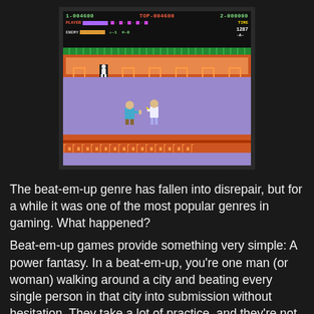[Figure (screenshot): A retro NES/arcade beat-em-up game screenshot showing a HUD with scores (1-004600, TOP-004600, 2-000000), player/enemy health bars, time 1287, stage -A-, and two characters fighting on a purple background with orange Greek-style architecture.]
The beat-em-up genre has fallen into disrepair, but for a while it was one of the most popular genres in gaming. What happened?
Beat-em-up games provide something very simple: A power fantasy. In a beat-em-up, you're one man (or woman) walking around a city and beating every single person in that city into submission without hesitation. They take a lot of practice, and they're not easy, but with dedication and hard work you can obliterate an entire urban area. With punches.